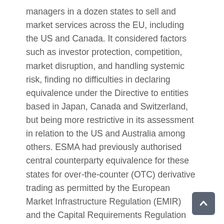managers in a dozen states to sell and market services across the EU, including the US and Canada. It considered factors such as investor protection, competition, market disruption, and handling systemic risk, finding no difficulties in declaring equivalence under the Directive to entities based in Japan, Canada and Switzerland, but being more restrictive in its assessment in relation to the US and Australia among others. ESMA had previously authorised central counterparty equivalence for these states for over-the-counter (OTC) derivative trading as permitted by the European Market Infrastructure Regulation (EMIR) and the Capital Requirements Regulation (CRR).
Regulation on Securities Financing Transaction a the replacement of MiFID by a new Directive